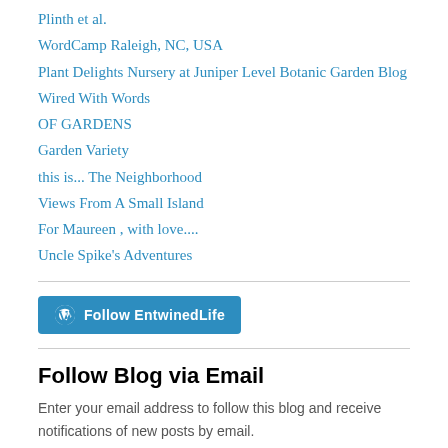Plinth et al.
WordCamp Raleigh, NC, USA
Plant Delights Nursery at Juniper Level Botanic Garden Blog
Wired With Words
OF GARDENS
Garden Variety
this is... The Neighborhood
Views From A Small Island
For Maureen , with love....
Uncle Spike's Adventures
[Figure (other): Follow EntwinedLife button with WordPress logo]
Follow Blog via Email
Enter your email address to follow this blog and receive notifications of new posts by email.